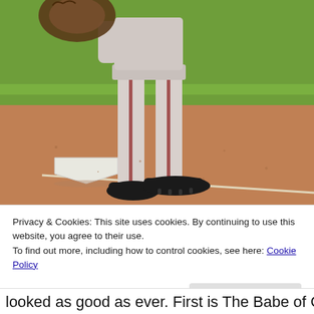[Figure (photo): A baseball player in white uniform with dark stripes near home plate on a dirt infield, with green grass in the background. A baseball glove is visible at the top of the frame. The home plate (white pentagon base) is visible in the lower left.]
Privacy & Cookies: This site uses cookies. By continuing to use this website, you agree to their use.
To find out more, including how to control cookies, see here: Cookie Policy
Close and accept
looked as good as ever. First is The Babe of Chase. Paul